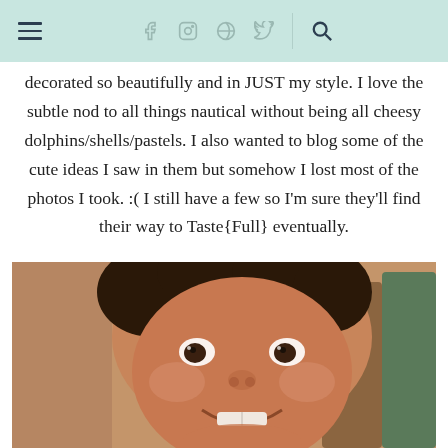Navigation bar with hamburger menu, social icons (Facebook, Instagram, Pinterest, Twitter), and search icon
decorated so beautifully and in JUST my style. I love the subtle nod to all things nautical without being all cheesy dolphins/shells/pastels. I also wanted to blog some of the cute ideas I saw in them but somehow I lost most of the photos I took. :(  I still have a few so I'm sure they'll find their way to Taste{Full} eventually.
[Figure (photo): Close-up photo of a smiling toddler with curly hair, looking up at the camera with a big smile showing teeth. Warm vintage tones. Background shows chairs and blurred interior.]